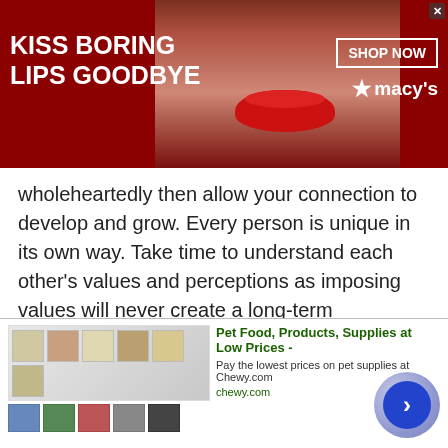[Figure (other): Macy's advertisement banner: dark red background with woman's face showing red lips, text 'KISS BORING LIPS GOODBYE', 'SHOP NOW' button, Macy's logo with star]
wholeheartedly then allow your connection to develop and grow. Every person is unique in its own way. Take time to understand each other's values and perceptions as imposing values will never create a long-term relationship. And of course, no one action will lead towards a particular result.
Guinean Finding Love is something that requires time, attention and most importantly, commitment. Live your life to the fullest, love yourself and accept things as they are. Remember, once you start doing all this you will
[Figure (other): Chewy.com advertisement: Pet Food, Products, Supplies at Low Prices - Pay the lowest prices on pet supplies at Chewy.com, chewy.com URL, product images shown, blue arrow button]